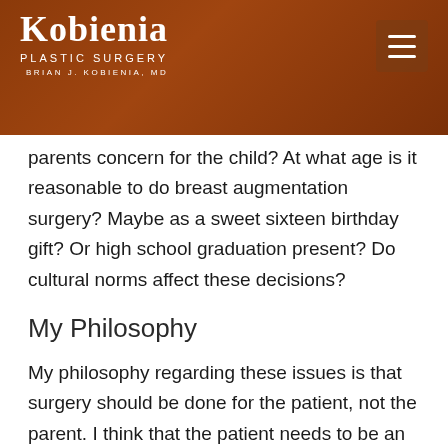[Figure (logo): Kobienia Plastic Surgery logo with Brian J. Kobienia, MD — white text on brown/bronze gradient header background with hamburger menu icon]
parents concern for the child? At what age is it reasonable to do breast augmentation surgery? Maybe as a sweet sixteen birthday gift? Or high school graduation present? Do cultural norms affect these decisions?
My Philosophy
My philosophy regarding these issues is that surgery should be done for the patient, not the parent. I think that the patient needs to be an active participant in the decision to undergo surgery and be mature enough to handle the